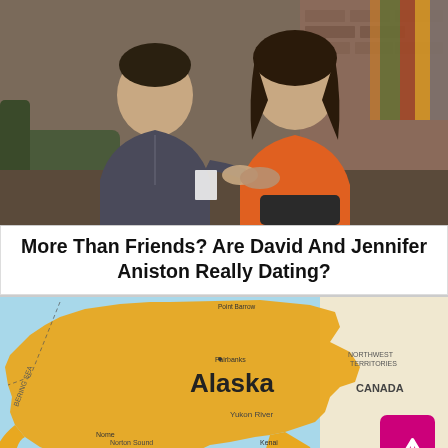[Figure (photo): A young man in a dark grey button-up shirt and a woman in an orange top sit together on a couch/chair, smiling. Background shows a brick wall and couch. They appear to be from a TV show set.]
More Than Friends? Are David And Jennifer Aniston Really Dating?
[Figure (map): A map of Alaska showing the state outlined in orange/gold with labeled cities and geographic features. Canada is labeled to the right. A magenta back-to-top arrow button overlays the bottom-right corner of the map.]